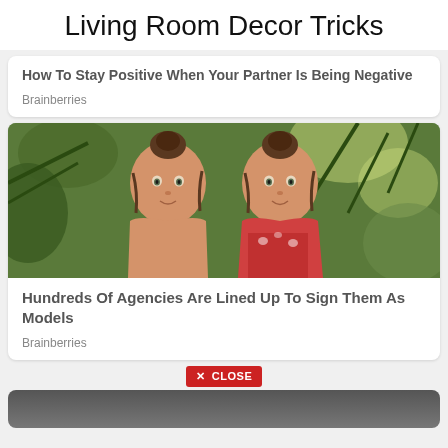Living Room Decor Tricks
How To Stay Positive When Your Partner Is Being Negative
Brainberries
[Figure (photo): Photo of two young twin girls smiling outdoors with green foliage background]
Hundreds Of Agencies Are Lined Up To Sign Them As Models
Brainberries
✕ CLOSE